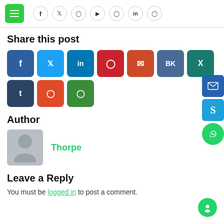Navigation bar with menu button and social icons: f, twitter, pinterest, youtube, instagram, in, whatsapp
Share this post
[Figure (infographic): Row of 10 social share buttons: Facebook, Twitter, LinkedIn, Pinterest, Email, VK, XING, Tumblr, Reddit, WhatsApp]
Author
[Figure (photo): Grey avatar silhouette placeholder image]
Thorpe
Leave a Reply
You must be logged in to post a comment.